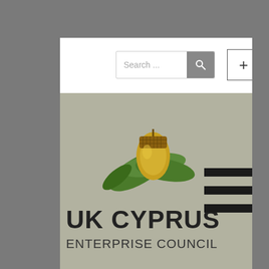[Figure (screenshot): UK Cyprus Enterprise Council website screenshot showing search bar at top, logo with olive/acorn motif, hamburger menu icon, and partial photo of smiling woman]
Search ...
[Figure (logo): UK Cyprus Enterprise Council logo with olive/acorn and leaf motif above the text UK CYPRUS ENTERPRISE COUNCIL]
UK CYPRUS
ENTERPRISE COUNCIL